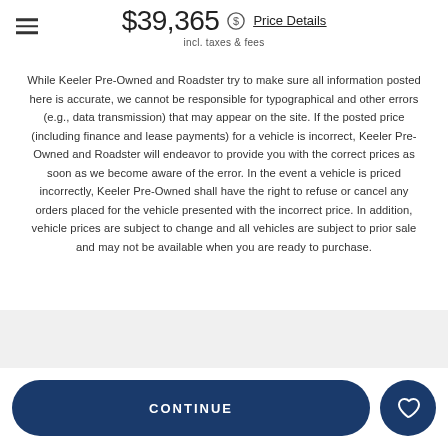$39,365 incl. taxes & fees — Price Details
While Keeler Pre-Owned and Roadster try to make sure all information posted here is accurate, we cannot be responsible for typographical and other errors (e.g., data transmission) that may appear on the site. If the posted price (including finance and lease payments) for a vehicle is incorrect, Keeler Pre-Owned and Roadster will endeavor to provide you with the correct prices as soon as we become aware of the error. In the event a vehicle is priced incorrectly, Keeler Pre-Owned shall have the right to refuse or cancel any orders placed for the vehicle presented with the incorrect price. In addition, vehicle prices are subject to change and all vehicles are subject to prior sale and may not be available when you are ready to purchase.
Similar Cars
CONTINUE